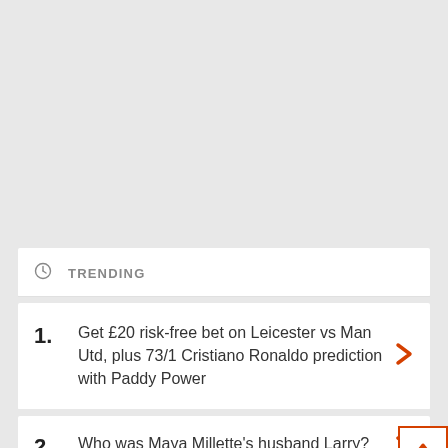TRENDING
Get £20 risk-free bet on Leicester vs Man Utd, plus 73/1 Cristiano Ronaldo prediction with Paddy Power
Who was Maya Millette's husband Larry?